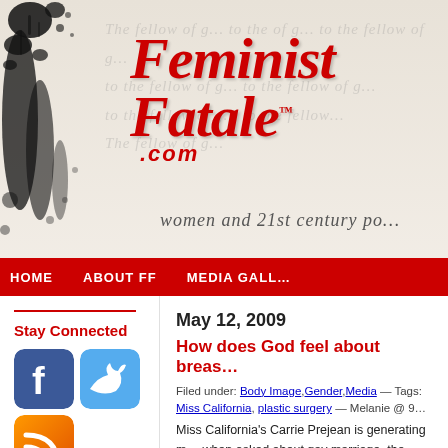[Figure (logo): Feminist Fatale .com logo with red cursive script on textured background with ink splatter and handwriting overlay]
HOME   ABOUT FF   MEDIA GALL
Stay Connected
[Figure (infographic): Social media icons: Facebook (blue with f), Twitter (blue with bird), RSS (orange with wave symbol)]
May 12, 2009
How does God feel about breas…
Filed under: Body Image,Gender,Media — Tags: Miss California, plastic surgery — Melanie @ 9…
Miss California's Carrie Prejean is generating m… when asked about gay marriage, the question a… mind the fact that these were implants funded b… enough. Hmmmm.
Maybe I'm just Miss California dreaming, envy. Just as some men may feel inadequ… could be that the actions, thoughts and w… are merely a disguise for her own sense o… endowed her with.